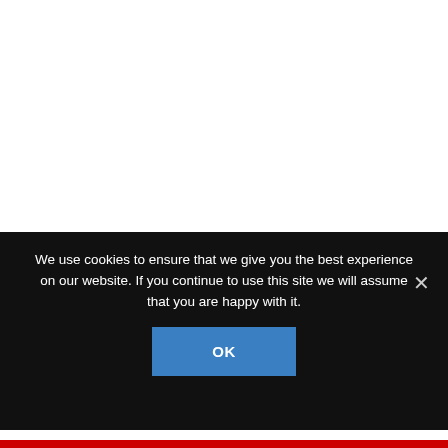If you are a Christian, that is most likely the false Greco-Roman messiah you follow, in some shape or form, most likely under the unoriginal name of “Jesus.” In other words,
We use cookies to ensure that we give you the best experience on our website. If you continue to use this site we will assume that you are happy with it.
OK